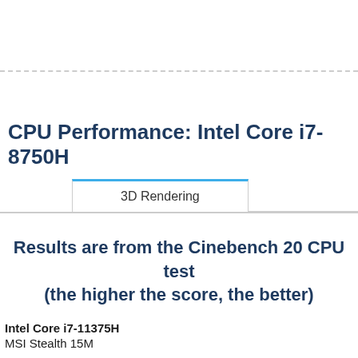CPU Performance: Intel Core i7-8750H
3D Rendering
Results are from the Cinebench 20 CPU test (the higher the score, the better)
Intel Core i7-11375H
MSI Stealth 15M